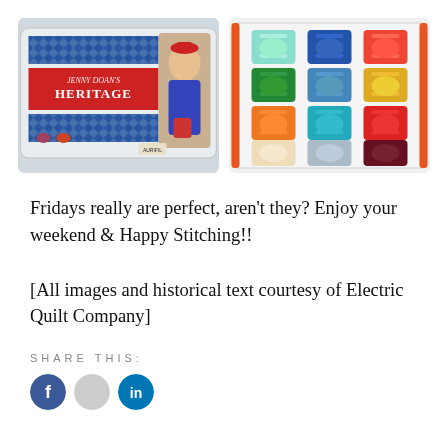[Figure (photo): Two side-by-side photos: left shows a Jenny Doan Heritage thread collection box with a woman in a red hat; right shows a plastic organizer with 12 colorful thread spools arranged in a 3x4 grid.]
Fridays really are perfect, aren't they? Enjoy your weekend & Happy Stitching!!
[All images and historical text courtesy of Electric Quilt Company]
SHARE THIS: